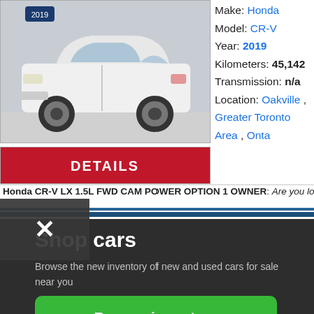[Figure (photo): White Honda CR-V SUV parked in a dealership showroom]
DETAILS
Make: Honda
Model: CR-V
Year: 2019
Kilometers: 45,142
Transmission: n/a
Location: Oakville , Greater Toronto Area , Onta
Honda CR-V LX 1.5L FWD CAM POWER OPTION 1 OWNER: Are you looking for w
Shop cars
Browse the new inventory of new and used cars for sale near you
Browse inventory